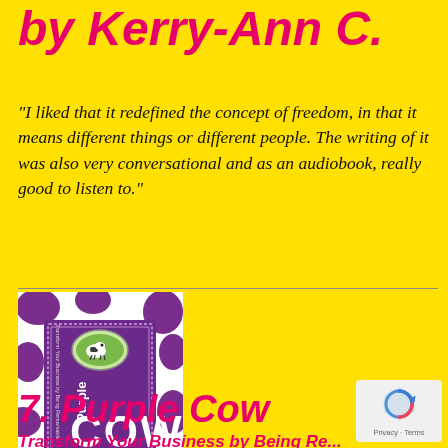by Kerry-Ann C.
"I liked that it redefined the concept of freedom, in that it means different things or different people. The writing of it was also very conversational and as an audiobook, really good to listen to."
[Figure (photo): Book cover of 'Purple Cow: Transform Your Business by Being Remarkable' by Seth Godin. Purple and white cow-spotted cover with a purple rectangle in the center showing the title and author name.]
7. Purple Cow
Transform Your Business by Being Remarkable